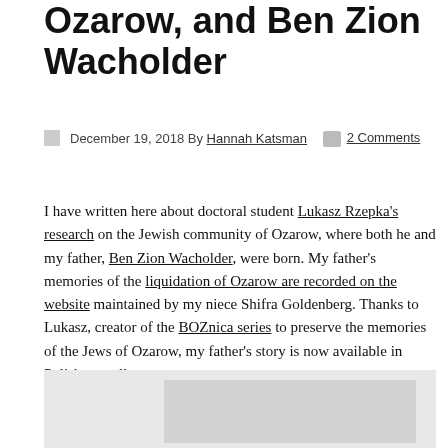Ozarow, and Ben Zion Wacholder
December 19, 2018 By Hannah Katsman  2 Comments
I have written here about doctoral student Lukasz Rzepka's research on the Jewish community of Ozarow, where both he and my father, Ben Zion Wacholder, were born. My father's memories of the liquidation of Ozarow are recorded on the website maintained by my niece Shifra Goldenberg. Thanks to Lukasz, creator of the BOZnica series to preserve the memories of the Jews of Ozarow, my father's story is now available in Polish as well.
[Figure (photo): A light gray placeholder image area with a slightly darker inner panel, representing an embedded image or media element.]